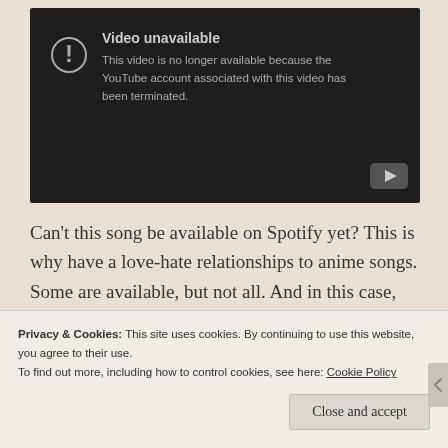[Figure (screenshot): YouTube embedded video player showing 'Video unavailable' error. Dark background with exclamation icon in circle. Text reads: 'Video unavailable. This video is no longer available because the YouTube account associated with this video has been terminated.' YouTube logo button in bottom right corner.]
Can't this song be available on Spotify yet? This is why have a love-hate relationships to anime songs. Some are available, but not all. And in this case, Kizuato is the most sentimental song I've heard yet.
Privacy & Cookies: This site uses cookies. By continuing to use this website, you agree to their use. To find out more, including how to control cookies, see here: Cookie Policy
Close and accept